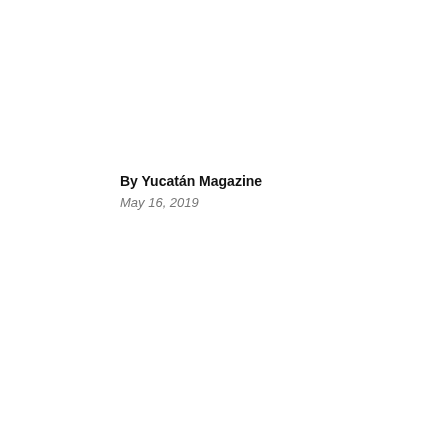By Yucatán Magazine
May 16, 2019